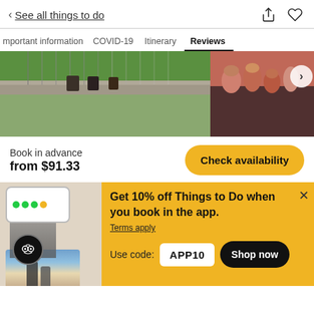< See all things to do
Important information  COVID-19  Itinerary  Reviews
[Figure (photo): Two side-by-side travel photos: left shows ATV riders on a suspension bridge with green trees; right shows a group of people on a boat/trip]
Book in advance
from $91.33
Check availability
Get 10% off Things to Do when you book in the app.
Terms apply
Use code: APP10
Shop now